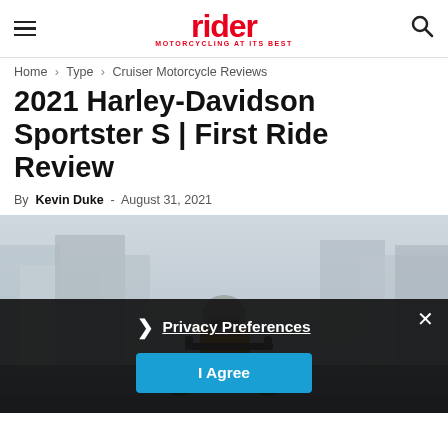rider — MOTORCYCLING AT ITS BEST
Home › Type › Cruiser Motorcycle Reviews
2021 Harley-Davidson Sportster S | First Ride Review
By Kevin Duke - August 31, 2021
[Figure (photo): Motorcyclist wearing helmet and jacket riding a dark motorcycle on a city street, viewed from the front, buildings in background]
Privacy Preferences
I Agree